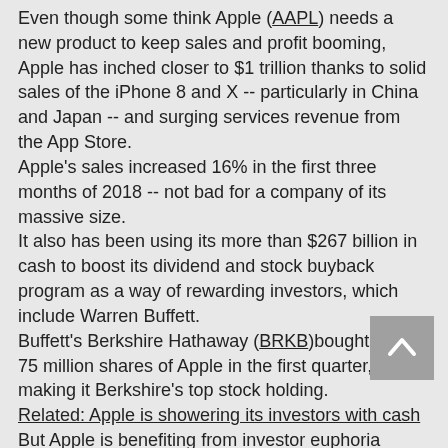Even though some think Apple (AAPL) needs a new product to keep sales and profit booming, Apple has inched closer to $1 trillion thanks to solid sales of the iPhone 8 and X -- particularly in China and Japan -- and surging services revenue from the App Store.
Apple's sales increased 16% in the first three months of 2018 -- not bad for a company of its massive size.
It also has been using its more than $267 billion in cash to boost its dividend and stock buyback program as a way of rewarding investors, which include Warren Buffett.
Buffett's Berkshire Hathaway (BRKB)bought nearly 75 million shares of Apple in the first quarter, making it Berkshire's top stock holding.
Related: Apple is showering its investors with cash
But Apple is benefiting from investor euphoria surrounding the tech sector broadly as well.
Amazon (AMZN) is also trading at an all-